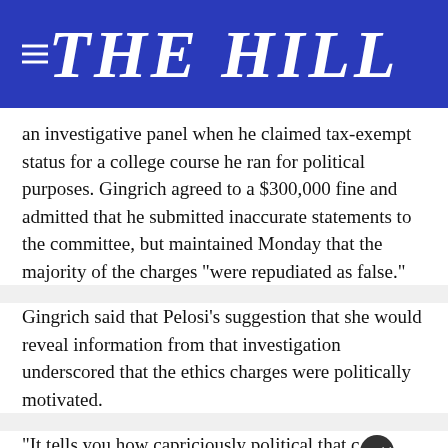THE HILL
an investigative panel when he claimed tax-exempt status for a college course he ran for political purposes. Gingrich agreed to a $300,000 fine and admitted that he submitted inaccurate statements to the committee, but maintained Monday that the majority of the charges “were repudiated as false.”
Gingrich said that Pelosi’s suggestion that she would reveal information from that investigation underscored that the ethics charges were politically motivated.
“It tells you how capriciously political that committee was,”
[Figure (advertisement): Chris Cuomo Coming This Fall to NewsNation advertisement banner]